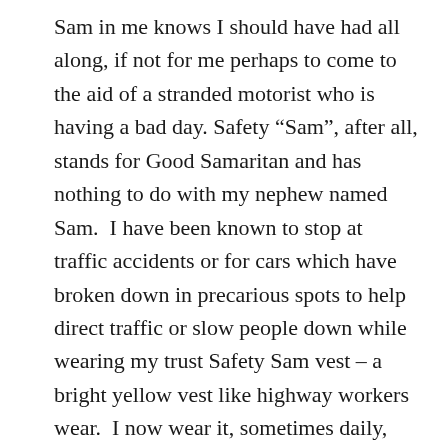Sam in me knows I should have had all along, if not for me perhaps to come to the aid of a stranded motorist who is having a bad day. Safety “Sam”, after all, stands for Good Samaritan and has nothing to do with my nephew named Sam.  I have been known to stop at traffic accidents or for cars which have broken down in precarious spots to help direct traffic or slow people down while wearing my trust Safety Sam vest – a bright yellow vest like highway workers wear.  I now wear it, sometimes daily, because I get in and out of the car so much taking photos, often crossing or walking along busy roads.  I used to keep a fire extinguisher in my car but after it’s useful life was over (they are only good for about 10 years)